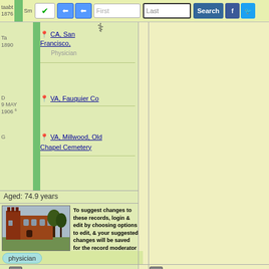taabt 1876 | Sm | CA, San Francisco, Physician | Search | First | Last
CA, San Francisco, Physician
VA, Fauquier Co
VA, Millwood, Old Chapel Cemetery
Aged: 74.9 years
[Figure (photo): Historic brick building with tower, colorized postcard style photo]
To suggest changes to these records, login & edit by choosing options to edit, & your suggested changes will be saved for the record moderator to review.
physician
1. William Meade Page
2. Book: History of the Medical Society of the District of Columbia, 1817-1909; Page 307;
3. Book: Officers in the
1. Emily Cabell Page
2. Website: Family Search Trees;